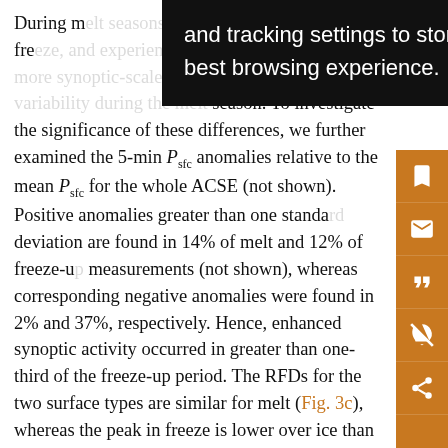During m[elt seasons, P_sfc (surface pressure) is more stable than in fre[eze season, and is slightly experienced more synoptic-scale activity during freeze season. To investigate the significance of these differences, we further examined the 5-min P_sfc anomalies relative to the mean P_sfc for the whole ACSE (not shown). Positive anomalies greater than one standard deviation are found in 14% of melt and 12% of freeze-up measurements (not shown), whereas corresponding negative anomalies were found in 2% and 37%, respectively. Hence, enhanced synoptic activity occurred in greater than one-third of the freeze-up period. The RFDs for the two surface types are similar for melt (Fig. 3c), whereas the peak in freeze is lower over ice than open water (Fig. 3d), suggesting that more fronts passed
[Figure (screenshot): Browser cookie/tracking tooltip overlay with dark background and white text reading: 'and tracking settings to store information that help give you the very best browsing experience.']